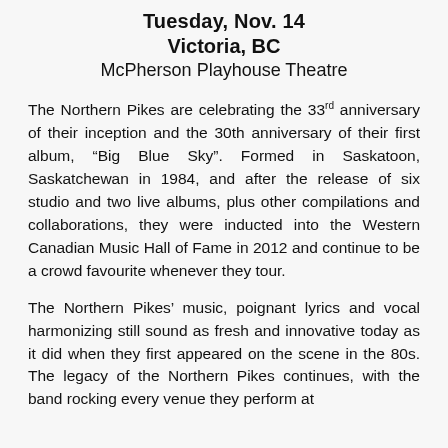Tuesday, Nov. 14
Victoria, BC
McPherson Playhouse Theatre
The Northern Pikes are celebrating the 33rd anniversary of their inception and the 30th anniversary of their first album, “Big Blue Sky”. Formed in Saskatoon, Saskatchewan in 1984, and after the release of six studio and two live albums, plus other compilations and collaborations, they were inducted into the Western Canadian Music Hall of Fame in 2012 and continue to be a crowd favourite whenever they tour.
The Northern Pikes’ music, poignant lyrics and vocal harmonizing still sound as fresh and innovative today as it did when they first appeared on the scene in the 80s. The legacy of the Northern Pikes continues, with the band rocking every venue they perform at.